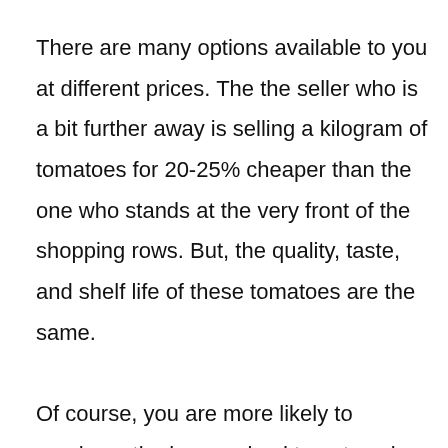There are many options available to you at different prices. The the seller who is a bit further away is selling a kilogram of tomatoes for 20-25% cheaper than the one who stands at the very front of the shopping rows. But, the quality, taste, and shelf life of these tomatoes are the same. Of course, you are more likely to purchase the lower priced tomatoes in this case, which means that the seller from whom you made the purchase “won the tender” in this case and made a profit. Therefore, it will be pointless to order SEO in such auctions as a rule. Because, here, the main thing is to make the best offer, that is, to minimize the price and maximize the range